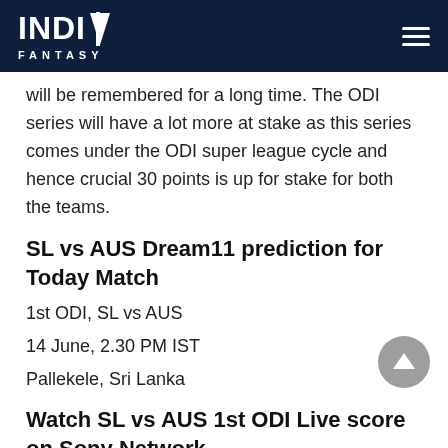INDIA FANTASY
will be remembered for a long time. The ODI series will have a lot more at stake as this series comes under the ODI super league cycle and hence crucial 30 points is up for stake for both the teams.
SL vs AUS Dream11 prediction for Today Match
1st ODI, SL vs AUS
14 June, 2.30 PM IST
Pallekele, Sri Lanka
Watch SL vs AUS 1st ODI Live score on Sony Network.